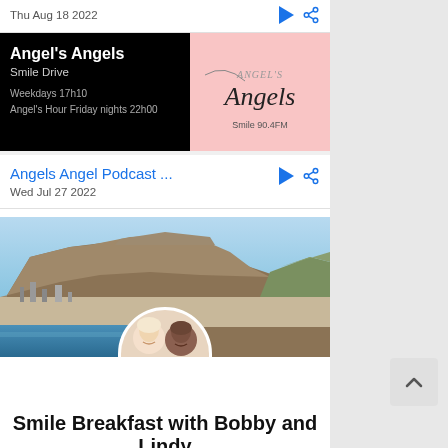Thu Aug 18 2022
[Figure (screenshot): Angel's Angels Smile Drive show card with black background and pink image panel showing 'ANGEL'S Angels' logo and 'Smile 90.4FM' text. Left side shows show title, Smile Drive subtitle, and schedule: Weekdays 17h10, Angel's Hour Friday nights 22h00]
Angels Angel Podcast ...
Wed Jul 27 2022
[Figure (photo): Aerial photo of Cape Town with Table Mountain in the background, showing the city, harbour, and surrounding mountains. In the foreground, two show hosts (a woman with blonde hair and a man smiling) are visible in a white semicircle cutout at the bottom center.]
Smile Breakfast with Bobby and Lindy
6am - 9am